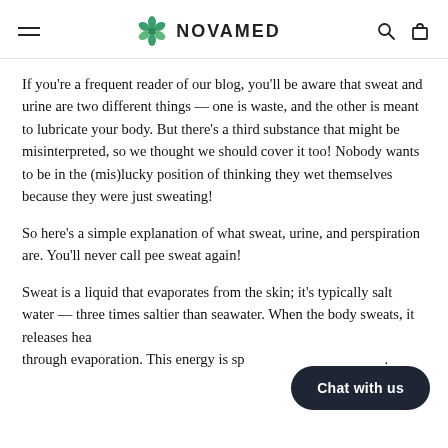NOVAMED
If you're a frequent reader of our blog, you'll be aware that sweat and urine are two different things — one is waste, and the other is meant to lubricate your body. But there's a third substance that might be misinterpreted, so we thought we should cover it too! Nobody wants to be in the (mis)lucky position of thinking they wet themselves because they were just sweating!
So here's a simple explanation of what sweat, urine, and perspiration are. You'll never call pee sweat again!
Sweat is a liquid that evaporates from the skin; it's typically salt water — three times saltier than seawater. When the body sweats, it releases heat through evaporation. This energy is sp